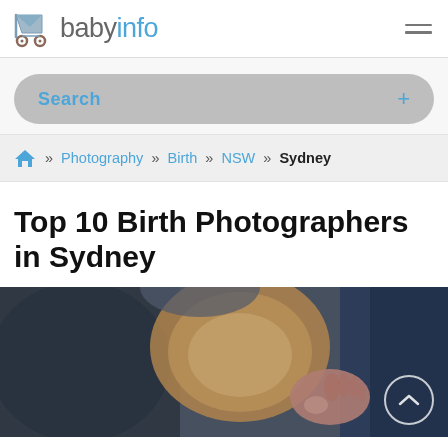babyinfo
Search +
» Photography » Birth » NSW » Sydney
Top 10 Birth Photographers in Sydney
[Figure (photo): Birth photography scene showing a newborn baby being held, with blurred warm tones and a circle back-to-top button overlay]